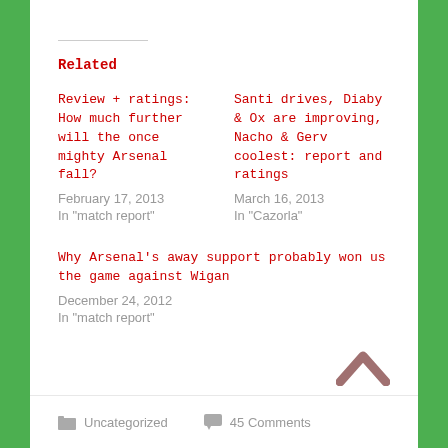Related
Review + ratings: How much further will the once mighty Arsenal fall?
February 17, 2013
In "match report"
Santi drives, Diaby & Ox are improving, Nacho & Gerv coolest: report and ratings
March 16, 2013
In "Cazorla"
Why Arsenal's away support probably won us the game against Wigan
December 24, 2012
In "match report"
Uncategorized    45 Comments